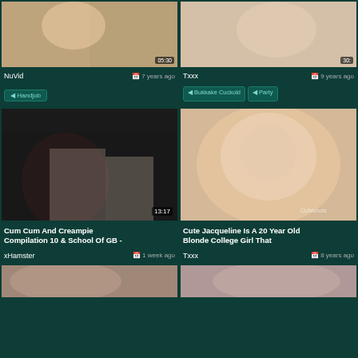[Figure (photo): Video thumbnail top left - blonde figure, timestamp 05:30]
[Figure (photo): Video thumbnail top right - figure, timestamp 30-something]
NuVid   7 years ago
Txxx   9 years ago
Handjob
Bukkake Cuckold   Party
[Figure (photo): Video thumbnail mid left - Cum Cum And Creampie Compilation 10 & School Of GB, timestamp 13:17]
[Figure (photo): Video thumbnail mid right - Cute Jacqueline Is A 20 Year Old Blonde College Girl That]
Cum Cum And Creampie Compilation 10 & School Of GB -
Cute Jacqueline Is A 20 Year Old Blonde College Girl That
xHamster   1 week ago
Txxx   8 years ago
[Figure (photo): Video thumbnail bottom left - partial view]
[Figure (photo): Video thumbnail bottom right - partial view]